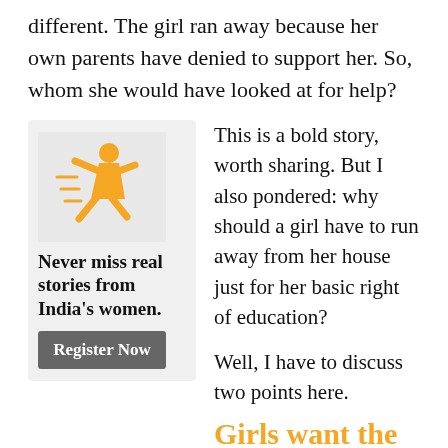different. The girl ran away because her own parents have denied to support her. So, whom she would have looked at for help?
[Figure (illustration): Orange illustration of a girl running, on a light gray background]
Never miss real stories from India's women.
Register Now
This is a bold story, worth sharing. But I also pondered: why should a girl have to run away from her house just for her basic right of education?
Well, I have to discuss two points here.
Girls want the right things
First, it's good to know that today girls have different perspectives and preferences towards life. There is a revolutionary change. Earlier, we